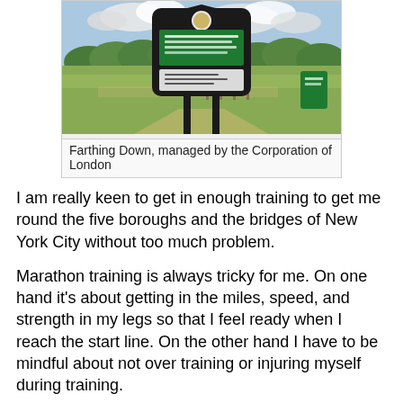[Figure (photo): Outdoor photo of Farthing Down showing a black information board/sign structure with green panels in an open countryside landscape with trees and cloudy sky]
Farthing Down, managed by the Corporation of London
I am really keen to get in enough training to get me round the five boroughs and the bridges of New York City without too much problem.
Marathon training is always tricky for me. On one hand it's about getting in the miles, speed, and strength in my legs so that I feel ready when I reach the start line. On the other hand I have to be mindful about not over training or injuring myself during training.
Things I do to avoid injury are:
Getting in lots of stretching between runs
Cross-training, i.e. regularly cycling and swimming